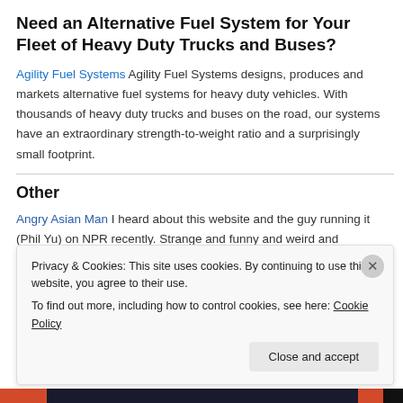Need an Alternative Fuel System for Your Fleet of Heavy Duty Trucks and Buses?
Agility Fuel Systems Agility Fuel Systems designs, produces and markets alternative fuel systems for heavy duty vehicles. With thousands of heavy duty trucks and buses on the road, our systems have an extraordinary strength-to-weight ratio and a surprisingly small footprint.
Other
Angry Asian Man I heard about this website and the guy running it (Phil Yu) on NPR recently. Strange and funny and weird and interesting
Privacy & Cookies: This site uses cookies. By continuing to use this website, you agree to their use.
To find out more, including how to control cookies, see here: Cookie Policy